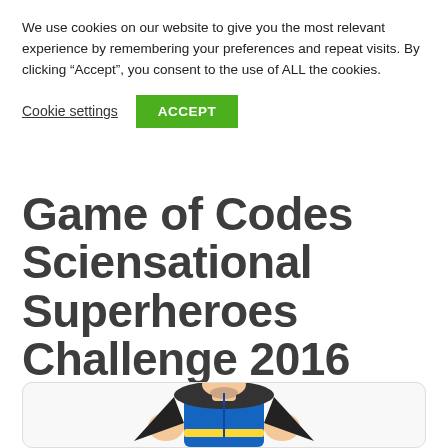We use cookies on our website to give you the most relevant experience by remembering your preferences and repeat visits. By clicking “Accept”, you consent to the use of ALL the cookies.
Cookie settings
ACCEPT
Game of Codes Sciensational Superheroes Challenge 2016
3rd October 2016  /  News and Events
[Figure (illustration): Partial illustration of a cartoon superhero character (torso and hands visible), wearing a blue costume with a cape, against a white rounded-rectangle card background.]